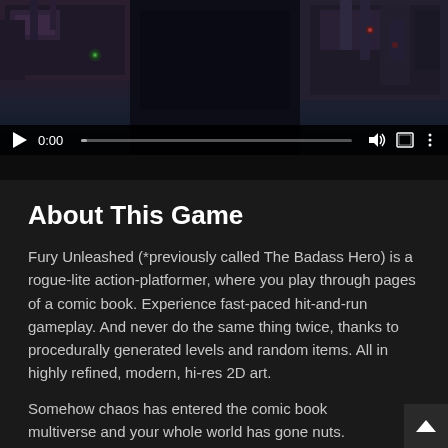[Figure (screenshot): Video player showing a dark game scene (rogue-lite action platformer) with play button, time display 0:00, progress bar, volume, fullscreen, and more options icons]
About This Game
Fury Unleashed (*previously called The Badass Hero) is a rogue-lite action-platformer, where you play through pages of a comic book. Experience fast-paced hit-and-run gameplay. And never do the same thing twice, thanks to procedurally generated levels and random items. All in highly refined, modern, hi-res 2D art.
Somehow chaos has entered the comic book multiverse and your whole world has gone nuts. That's how your story starts: You're from a long-gone era, and were once a great hero, but now things have gotten worse – your powers have